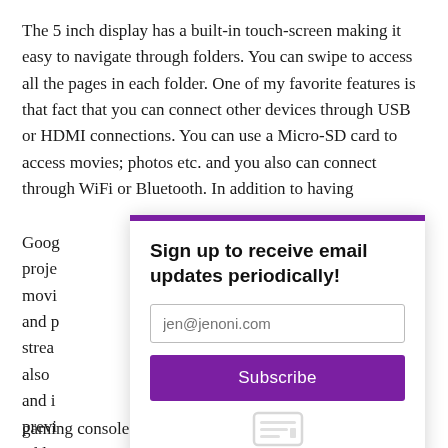The 5 inch display has a built-in touch-screen making it easy to navigate through folders. You can swipe to access all the pages in each folder. One of my favorite features is that fact that you can connect other devices through USB or HDMI connections. You can use a Micro-SD card to access movies; photos etc. and you also can connect through WiFi or Bluetooth. In addition to having
[Figure (screenshot): Email subscription modal popup with purple top border. Contains heading 'Sign up to receive email updates periodically!', an email input field with placeholder 'jen@jenoni.com', a purple 'Subscribe' button, and a CAPTCHA icon.]
gaming console through HDMI input and project your